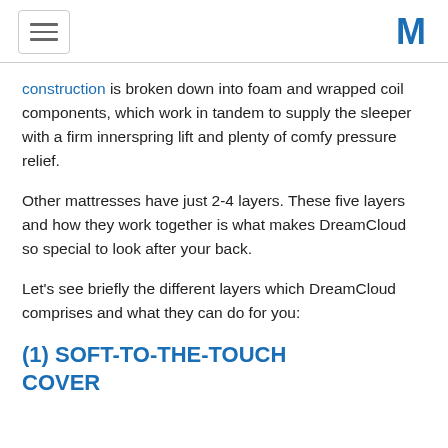[hamburger menu icon] [M logo]
construction is broken down into foam and wrapped coil components, which work in tandem to supply the sleeper with a firm innerspring lift and plenty of comfy pressure relief.
Other mattresses have just 2-4 layers. These five layers and how they work together is what makes DreamCloud so special to look after your back.
Let's see briefly the different layers which DreamCloud comprises and what they can do for you:
(1) SOFT-TO-THE-TOUCH COVER